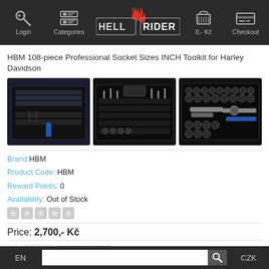Login   Categories   HELL RIDER   0,- Kč   Checkout
HBM 108-piece Professional Socket Sizes INCH Toolkit for Harley Davidson
[Figure (photo): Three views of a 108-piece professional socket toolkit in a black carrying case for Harley Davidson]
Brand: HBM
Product Code: HBM
Reward Points: 0
Availability: Out of Stock
Price: 2,700,- Kč
Qty: 1   Add to Cart
EN   [search]   CZK